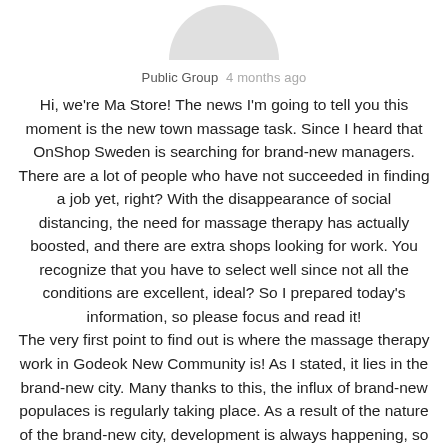[Figure (illustration): Bottom half of a circular avatar/profile picture in light gray]
Public Group  4 months ago
Hi, we're Ma Store! The news I'm going to tell you this moment is the new town massage task. Since I heard that OnShop Sweden is searching for brand-new managers. There are a lot of people who have not succeeded in finding a job yet, right? With the disappearance of social distancing, the need for massage therapy has actually boosted, and there are extra shops looking for work. You recognize that you have to select well since not all the conditions are excellent, ideal? So I prepared today's information, so please focus and read it!
The very first point to find out is where the massage therapy work in Godeok New Community is! As I stated, it lies in the brand-new city. Many thanks to this, the influx of brand-new populaces is regularly taking place. As a result of the nature of the brand-new city, development is always happening, so the commercial district is very, great. Of course, it's a place where